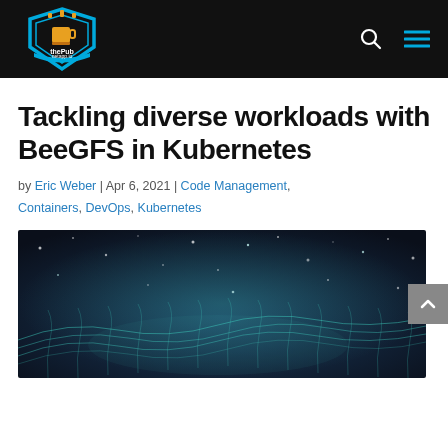thePub netapp.io
Tackling diverse workloads with BeeGFS in Kubernetes
by Eric Weber | Apr 6, 2021 | Code Management, Containers, DevOps, Kubernetes
[Figure (illustration): Abstract digital wave mesh network visualization on dark blue background with glowing dots and grid lines, representing distributed technology.]